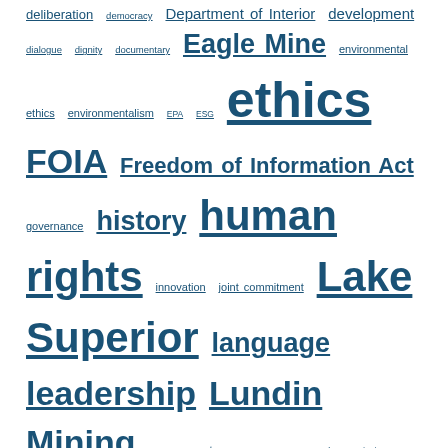deliberation democracy Department of Interior development dialogue dignity documentary Eagle Mine environmental ethics environmentalism EPA ESG ethics FOIA Freedom of Information Act governance history human rights innovation joint commitment Lake Superior language leadership Lundin Mining management Marquette County Road Commission Marquette County Road Commission v. EPA Michigan mining morality moral philosophy non-coercion non-coercive power Obama political theory politics pollution Polymet power respect responsibility Rio Tinto risk serious conversations sulfide mining sustainability the power of asking trust Twin Metals Upper Peninsula Water Woody Guthrie
PAGES
1913 Massacre Film
Prosperity: A Lake Superior Project